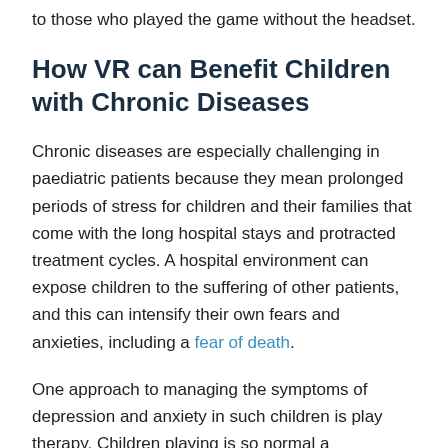to those who played the game without the headset.
How VR can Benefit Children with Chronic Diseases
Chronic diseases are especially challenging in paediatric patients because they mean prolonged periods of stress for children and their families that come with the long hospital stays and protracted treatment cycles. A hospital environment can expose children to the suffering of other patients, and this can intensify their own fears and anxieties, including a fear of death.
One approach to managing the symptoms of depression and anxiety in such children is play therapy. Children playing is so normal a phenomenon that it's significance is often overlooked. Play not only improves physical well-being in children, it strengthens their mental processes, stabilises their